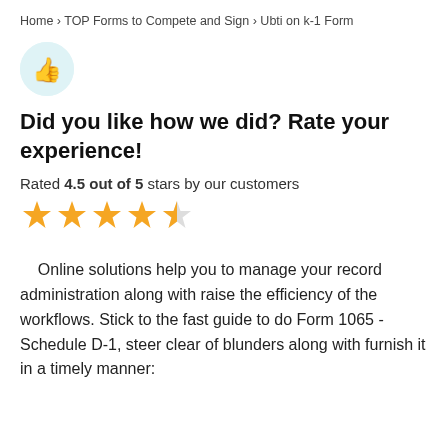Home › TOP Forms to Compete and Sign › Ubti on k-1 Form
[Figure (illustration): Thumbs up icon inside a light teal circle]
Did you like how we did? Rate your experience!
Rated 4.5 out of 5 stars by our customers
[Figure (other): 4.5 out of 5 stars rating shown as four full gold stars and one half gold star]
Online solutions help you to manage your record administration along with raise the efficiency of the workflows. Stick to the fast guide to do Form 1065 - Schedule D-1, steer clear of blunders along with furnish it in a timely manner: